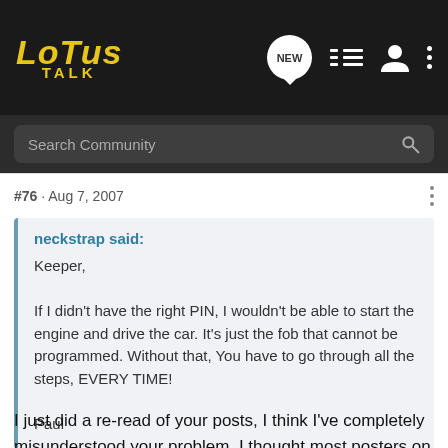LOTUS TALK
#76 · Aug 7, 2007
neckstrap said:
Keeper,

If I didn't have the right PIN, I wouldn't be able to start the engine and drive the car. It's just the fob that cannot be programmed. Without that, You have to go through all the steps, EVERY TIME!

Paul
I just did a re-read of your posts, I think I've completely misunderstood your problem. I thought most posters on this thread are just looking to disable the immobilizer. Your saying your fob won't even disable your alarm? Sorry, when you said